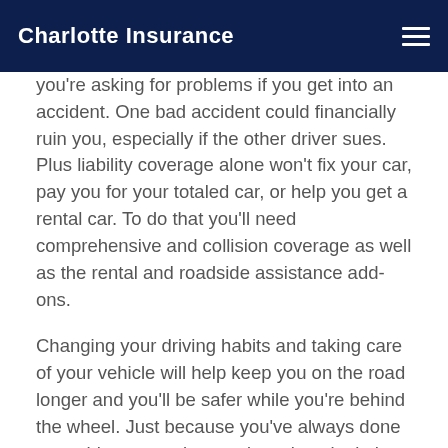Charlotte Insurance
you're asking for problems if you get into an accident. One bad accident could financially ruin you, especially if the other driver sues. Plus liability coverage alone won't fix your car, pay you for your totaled car, or help you get a rental car. To do that you'll need comprehensive and collision coverage as well as the rental and roadside assistance add-ons.
Changing your driving habits and taking care of your vehicle will help keep you on the road longer and you'll be safer while you're behind the wheel. Just because you've always done something a certain way doesn't make it the best option. Take it one habit at a time, and you'll see that the change is worth it.
Start making changes right now with a new auto insurance policy that actually covers you in an accident. Contact us